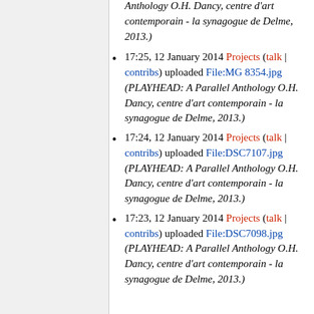17:25, 12 January 2014 Projects (talk | contribs) uploaded File:MG 8354.jpg (PLAYHEAD: A Parallel Anthology O.H. Dancy, centre d'art contemporain - la synagogue de Delme, 2013.)
17:24, 12 January 2014 Projects (talk | contribs) uploaded File:DSC7107.jpg (PLAYHEAD: A Parallel Anthology O.H. Dancy, centre d'art contemporain - la synagogue de Delme, 2013.)
17:23, 12 January 2014 Projects (talk | contribs) uploaded File:DSC7098.jpg (PLAYHEAD: A Parallel Anthology O.H. Dancy, centre d'art contemporain - la synagogue de Delme, 2013.)